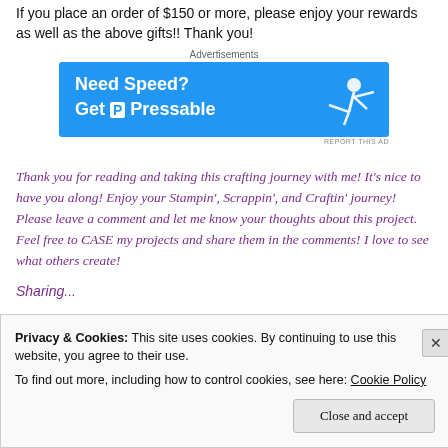If you place an order of $150 or more, please enjoy your rewards as well as the above gifts!! Thank you!
[Figure (other): Advertisement banner for Pressable with blue background, 'Need Speed? Get Pressable' text and figure of person running/flying]
Thank you for reading and taking this crafting journey with me! It's nice to have you along! Enjoy your Stampin', Scrappin', and Craftin' journey! Please leave a comment and let me know your thoughts about this project. Feel free to CASE my projects and share them in the comments! I love to see what others create!
Privacy & Cookies: This site uses cookies. By continuing to use this website, you agree to their use. To find out more, including how to control cookies, see here: Cookie Policy